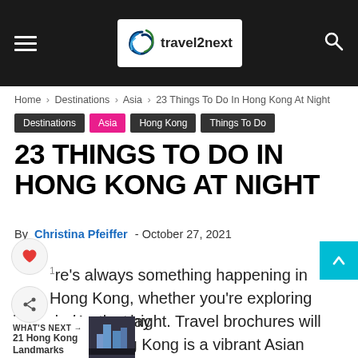[Figure (logo): travel2next website header with navigation bar, hamburger menu, logo, and search icon]
Home > Destinations > Asia > 23 Things To Do In Hong Kong At Night
Destinations | Asia | Hong Kong | Things To Do
23 THINGS TO DO IN HONG KONG AT NIGHT
By Christina Pfeiffer - October 27, 2021
There's always something happening in Hong Kong, whether you're exploring during the day or in Hong Kong at night. Travel brochures will tell you that Hong Kong is a vibrant Asian metropolis – and the brochures are correct. The city is China's answer to New